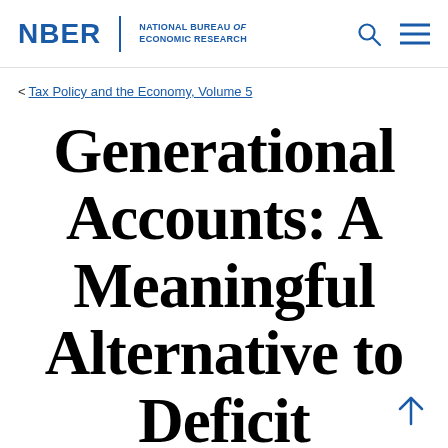NBER | NATIONAL BUREAU of ECONOMIC RESEARCH
< Tax Policy and the Economy, Volume 5
Generational Accounts: A Meaningful Alternative to Deficit